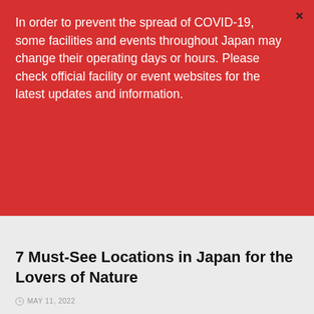In order to prevent the spread of COVID-19, some facilities and events throughout Japan may change their operating days or hours. Please check official facility or event websites for the latest updates and information.
[Figure (photo): Gray placeholder image area for a Japan travel article, with a red 'JAPAN TRAVEL' tag label overlaid at the bottom left.]
7 Must-See Locations in Japan for the Lovers of Nature
MAY 11, 2022